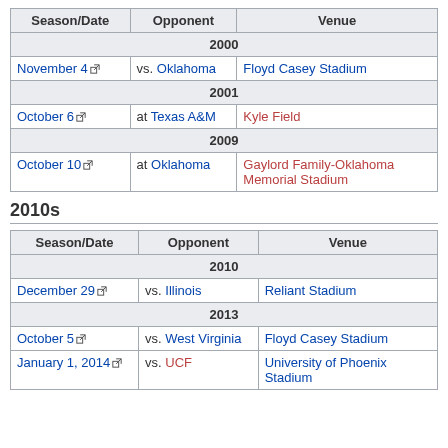| Season/Date | Opponent | Venue |
| --- | --- | --- |
| 2000 |  |  |
| November 4 | vs. Oklahoma | Floyd Casey Stadium |
| 2001 |  |  |
| October 6 | at Texas A&M | Kyle Field |
| 2009 |  |  |
| October 10 | at Oklahoma | Gaylord Family-Oklahoma Memorial Stadium |
2010s
| Season/Date | Opponent | Venue |
| --- | --- | --- |
| 2010 |  |  |
| December 29 | vs. Illinois | Reliant Stadium |
| 2013 |  |  |
| October 5 | vs. West Virginia | Floyd Casey Stadium |
| January 1, 2014 | vs. UCF | University of Phoenix Stadium |